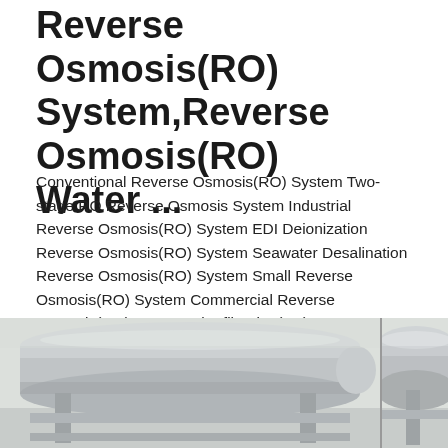Reverse Osmosis(RO) System,Reverse Osmosis(RO) Water ...
Conventional Reverse Osmosis(RO) System Two-stage RO Reverse Osmosis System Industrial Reverse Osmosis(RO) System EDI Deionization Reverse Osmosis(RO) System Seawater Desalination Reverse Osmosis(RO) System Small Reverse Osmosis(RO) System Commercial Reverse Osmosis(RO) System Ultrafiltration(UF) System
[Figure (photo): Industrial reverse osmosis system showing large cylindrical pressure vessels/membrane housings mounted on a metal frame, photographed in a facility/factory setting]